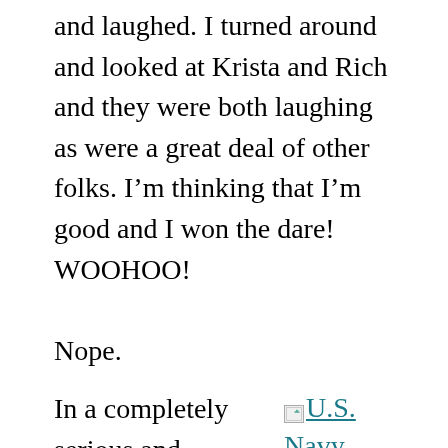and laughed. I turned around and looked at Krista and Rich and they were both laughing as were a great deal of other folks. I’m thinking that I’m good and I won the dare! WOOHOO!
Nope.
In a completely serious and deadpan voice, Odie said “You think that’s a kiss?
[Figure (other): Broken image placeholder with link text: U.S. Navy sailor Glenn Edward McDuffie (L) kisses a nurse in Times Square in an]